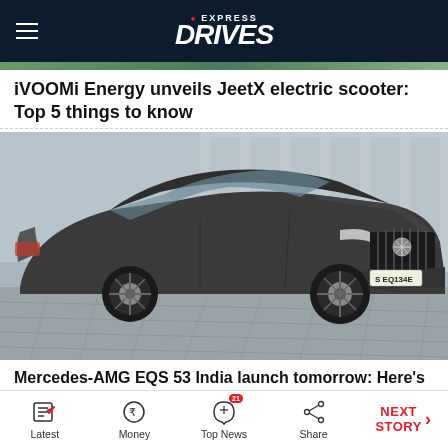EXPRESS DRIVES
iVOOMi Energy unveils JeetX electric scooter: Top 5 things to know
[Figure (photo): Mercedes-AMG EQS 53 electric car photographed outdoors, dark grey color, license plate S EQ 134E, parked on paved surface with modern building in background]
Mercedes-AMG EQS 53 India launch tomorrow: Here's
Latest  Money  Top News  Share  NEXT STORY